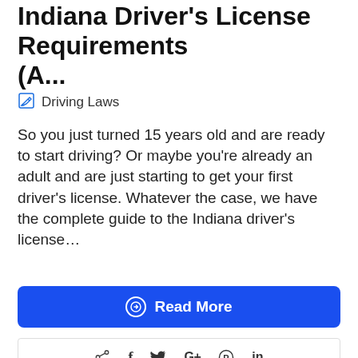Indiana Driver's License Requirements (A...
Driving Laws
So you just turned 15 years old and are ready to start driving? Or maybe you're already an adult and are just starting to get your first driver's license. Whatever the case, we have the complete guide to the Indiana driver's license…
Read More
[Figure (screenshot): Social sharing bar with share, Facebook, Twitter, Google+, Pinterest, and LinkedIn icons]
[Figure (photo): Partial photo of a car and driver with a dark overlay bar at the bottom]